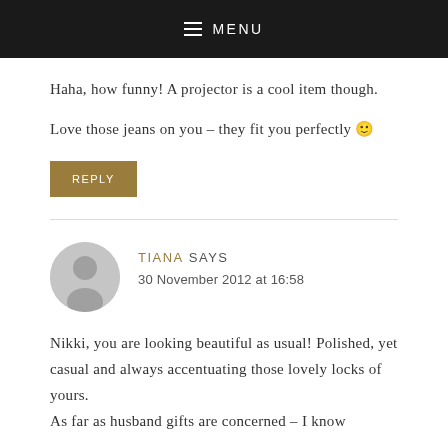MENU
Haha, how funny! A projector is a cool item though.
Love those jeans on you – they fit you perfectly 🙂
REPLY
TIANA SAYS
30 November 2012 at 16:58
Nikki, you are looking beautiful as usual! Polished, yet casual and always accentuating those lovely locks of yours.
As far as husband gifts are concerned – I know